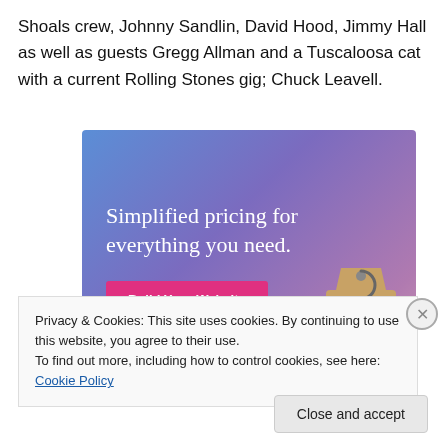Shoals crew, Johnny Sandlin, David Hood, Jimmy Hall as well as guests Gregg Allman and a Tuscaloosa cat with a current Rolling Stones gig; Chuck Leavell.
[Figure (other): Advertisement banner with gradient blue-purple background showing text 'Simplified pricing for everything you need.' with a pink 'Build Your Website' button and a tan price tag illustration.]
Privacy & Cookies: This site uses cookies. By continuing to use this website, you agree to their use.
To find out more, including how to control cookies, see here: Cookie Policy
Close and accept